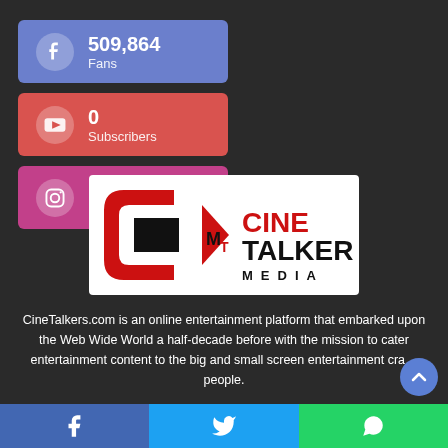[Figure (infographic): Facebook social card showing 509,864 Fans on blue/purple background]
[Figure (infographic): YouTube social card showing 0 Subscribers on red background]
[Figure (infographic): Instagram social card showing 1.8M Followers on pink/magenta background]
[Figure (logo): CineTalkers Media logo with red and black lettering on white background]
CineTalkers.com is an online entertainment platform that embarked upon the Web Wide World a half-decade before with the mission to cater entertainment content to the big and small screen entertainment crazy people.
[Figure (infographic): Bottom share bar with Facebook, Twitter, and WhatsApp icons]